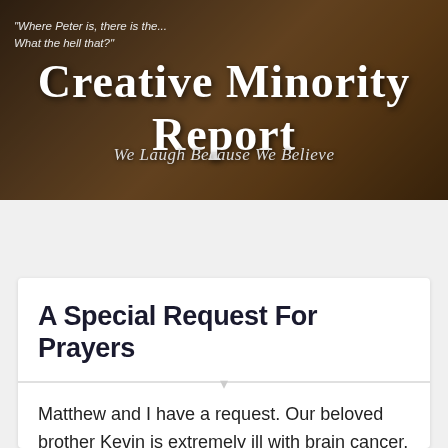[Figure (screenshot): Website header banner with painting background showing historical figures, overlaid with blog title and subtitle text]
Creative Minority Report
We Laugh Because We Believe
[Figure (screenshot): Navigation bar with hamburger menu icon on left and search icon on right, dark background]
A Special Request For Prayers
Matthew and I have a request. Our beloved brother Kevin is extremely ill with brain cancer. Without going into much detail, this is the type of situation that now requires a miracle and we believe in